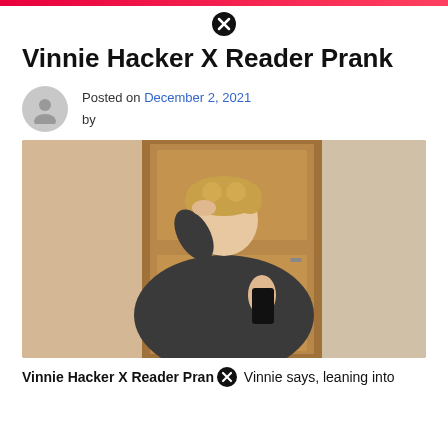Vinnie Hacker X Reader Prank
Posted on December 2, 2021 by
[Figure (photo): Young man with curly blonde hair wearing a dark hoodie, taking a mirror selfie with a black smartphone. Wooden door visible in background.]
Vinnie Hacker X Reader Prank Vinnie says, leaning into